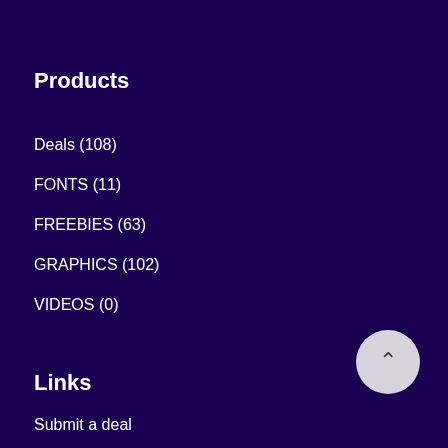Products
Deals (108)
FONTS (11)
FREEBIES (63)
GRAPHICS (102)
VIDEOS (0)
Links
Submit a deal
Affiliates